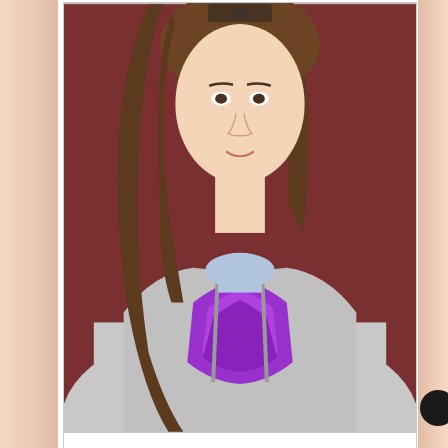[Figure (photo): Close-up photo of a young woman with long brown hair wearing a gray North Face hoodie with a purple logo, against a red background]
Hi There! I'm Lisa. I'm a lover of all things crafty, creative, DIY, and delicious!!! Oh yeah and puppies too! I love cooking and baking for my friends and family but especially WITH my friends and family. I show my greatest affection through food. If I cook or bake for you, it means I really like you!